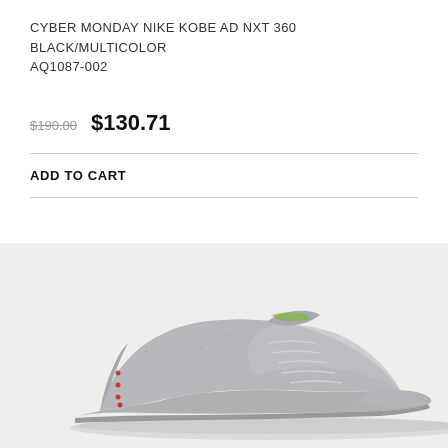CYBER MONDAY NIKE KOBE AD NXT 360 BLACK/MULTICOLOR AQ1087-002
$190.00  $130.71
ADD TO CART
[Figure (photo): Nike Kobe AD NXT 360 sneaker in grey/multicolor colorway, side profile view on a light grey background]